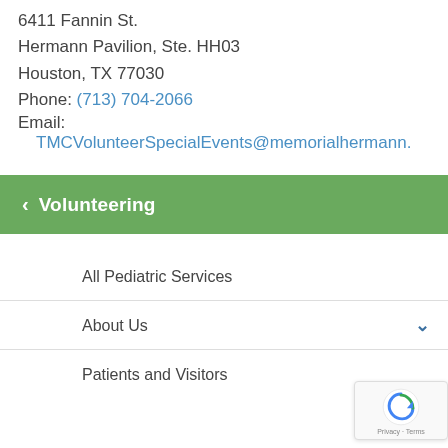6411 Fannin St.
Hermann Pavilion, Ste. HH03
Houston, TX 77030
Phone: (713) 704-2066
Email:
TMCVolunteerSpecialEvents@memorialhermann.
< Volunteering
All Pediatric Services
About Us
Patients and Visitors